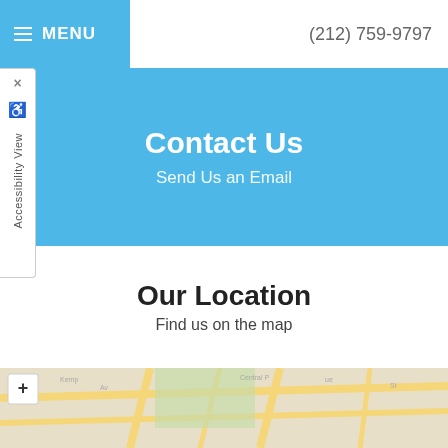MENU  (212) 759-9797
Contact Us
Send Us an Email
Our Location
Find us on the map
[Figure (map): Street map showing location, with a zoom-in (+) button in the upper left corner. Map shows streets including Central Park area with yellow road lines on beige background and green park area.]